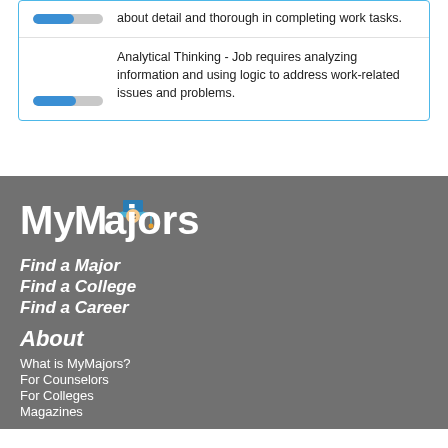about detail and thorough in completing work tasks.
Analytical Thinking - Job requires analyzing information and using logic to address work-related issues and problems.
[Figure (logo): MyMajors logo with graduation cap icon]
Find a Major
Find a College
Find a Career
About
What is MyMajors?
For Counselors
For Colleges
Magazines